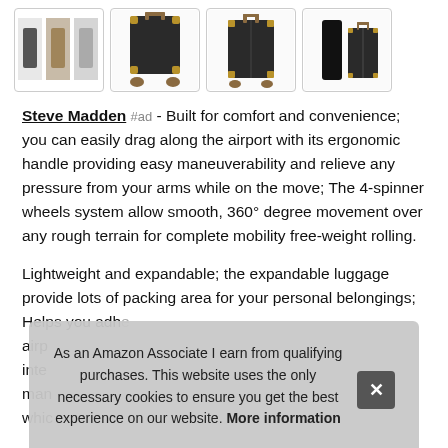[Figure (photo): Row of four product images showing Steve Madden luggage from different angles — thumbnail group, front bottom view with spinner wheels, front full view, and person standing next to luggage]
Steve Madden #ad - Built for comfort and convenience; you can easily drag along the airport with its ergonomic handle providing easy maneuverability and relieve any pressure from your arms while on the move; The 4-spinner wheels system allow smooth, 360° degree movement over any rough terrain for complete mobility free-weight rolling.
Lightweight and expandable; the expandable luggage provide lots of packing area for your personal belongings; Helps you adh... airp... inte... man... whic...
As an Amazon Associate I earn from qualifying purchases. This website uses the only necessary cookies to ensure you get the best experience on our website. More information